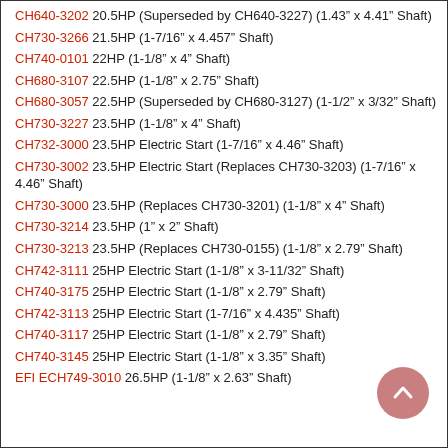CH640-3202 20.5HP (Superseded by CH640-3227) (1.43" x 4.41" Shaft)
CH730-3266 21.5HP (1-7/16" x 4.457" Shaft)
CH740-0101 22HP (1-1/8" x 4" Shaft)
CH680-3107 22.5HP (1-1/8" x 2.75" Shaft)
CH680-3057 22.5HP (Superseded by CH680-3127) (1-1/2" x 3/32" Shaft)
CH730-3227 23.5HP (1-1/8" x 4" Shaft)
CH732-3000 23.5HP Electric Start (1-7/16" x 4.46" Shaft)
CH730-3002 23.5HP Electric Start (Replaces CH730-3203) (1-7/16" x 4.46" Shaft)
CH730-3000 23.5HP (Replaces CH730-3201) (1-1/8" x 4" Shaft)
CH730-3214 23.5HP (1" x 2" Shaft)
CH730-3213 23.5HP (Replaces CH730-0155) (1-1/8" x 2.79" Shaft)
CH742-3111 25HP Electric Start (1-1/8" x 3-11/32" Shaft)
CH740-3175 25HP Electric Start (1-1/8" x 2.79" Shaft)
CH742-3113 25HP Electric Start (1-7/16" x 4.435" Shaft)
CH740-3117 25HP Electric Start (1-1/8" x 2.79" Shaft)
CH740-3145 25HP Electric Start (1-1/8" x 3.35" Shaft)
EFI ECH749-3010 26.5HP (1-1/8" x 2.63" Shaft)